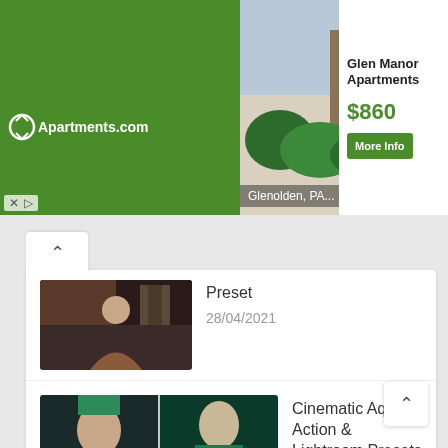[Figure (screenshot): Apartments.com advertisement banner showing Glen Manor Apartments in Glenolden, PA with a photo of the apartment building, price of $860, and a More Info button]
Preset
28/04/2021
[Figure (photo): Thumbnail image for Cinematic Aqua Action & Lightroom Presets showing photo editing examples with teal/aqua color grading]
Cinematic Aqua Action & Lightroom Presets
08/06/2021